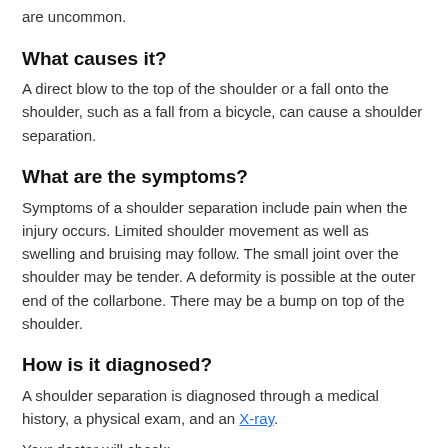are uncommon.
What causes it?
A direct blow to the top of the shoulder or a fall onto the shoulder, such as a fall from a bicycle, can cause a shoulder separation.
What are the symptoms?
Symptoms of a shoulder separation include pain when the injury occurs. Limited shoulder movement as well as swelling and bruising may follow. The small joint over the shoulder may be tender. A deformity is possible at the outer end of the collarbone. There may be a bump on top of the shoulder.
How is it diagnosed?
A shoulder separation is diagnosed through a medical history, a physical exam, and an X-ray.
Your doctor will check:
For a deformity or bump.